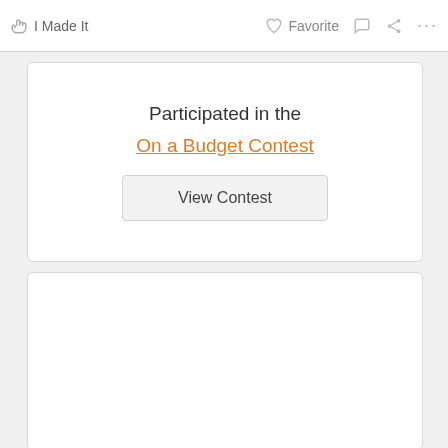I Made It   Favorite   ...
Participated in the
On a Budget Contest
View Contest